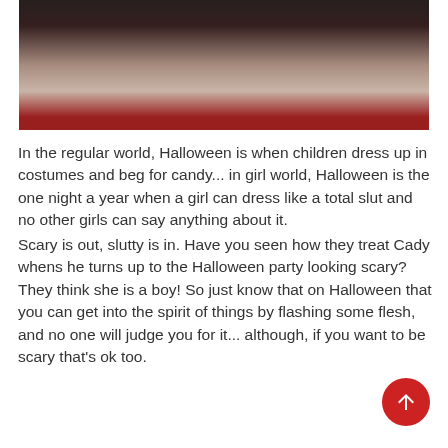[Figure (photo): A dark photograph showing people in costumes, partially visible against a dark background.]
In the regular world, Halloween is when children dress up in costumes and beg for candy... in girl world, Halloween is the one night a year when a girl can dress like a total slut and no other girls can say anything about it.
Scary is out, slutty is in. Have you seen how they treat Cady whens he turns up to the Halloween party looking scary? They think she is a boy! So just know that on Halloween that you can get into the spirit of things by flashing some flesh, and no one will judge you for it... although, if you want to be scary that's ok too.